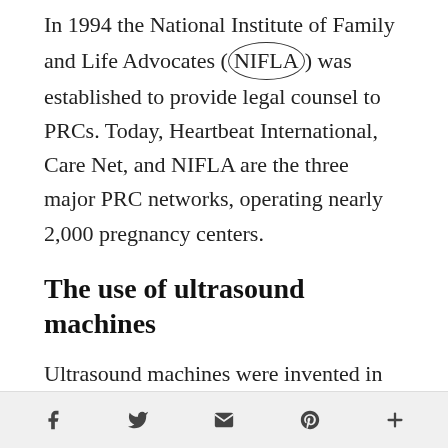In 1994 the National Institute of Family and Life Advocates (NIFLA) was established to provide legal counsel to PRCs. Today, Heartbeat International, Care Net, and NIFLA are the three major PRC networks, operating nearly 2,000 pregnancy centers.
The use of ultrasound machines
Ultrasound machines were invented in the 1960s, but became more widespread for obstetric use in the 1980s. NIFLA, and the
Social share icons: Facebook, Twitter, Email, Pinterest, More